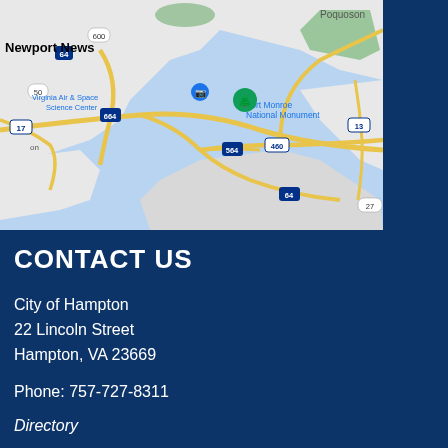[Figure (map): Google Maps view showing Newport News, Hampton, Fort Monroe National Monument, Virginia Air & Space Science Center, and surrounding waterways in the Hampton Roads area of Virginia. Roads including I-64, I-664, I-564, US-460, US-13, US-17 are visible.]
CONTACT US
City of Hampton
22 Lincoln Street
Hampton, VA 23669
Phone: 757-727-8311
Directory